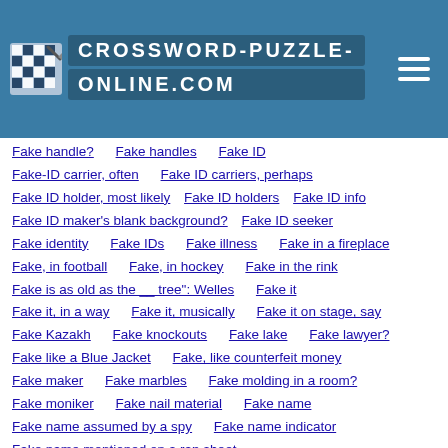[Figure (logo): Crossword-Puzzle-Online.com website header with logo and hamburger menu]
Fake handle?   Fake handles   Fake ID
Fake-ID carrier, often   Fake ID carriers, perhaps
Fake ID holder, most likely   Fake ID holders   Fake ID info
Fake ID maker's blank background?   Fake ID seeker
Fake identity   Fake IDs   Fake illness   Fake in a fireplace
Fake, in football   Fake, in hockey   Fake in the rink
Fake is as old as the __ tree": Welles   Fake it
Fake it, in a way   Fake it, musically   Fake it on stage, say
Fake Kazakh   Fake knockouts   Fake lake   Fake lawyer?
Fake like a Blue Jacket   Fake, like counterfeit money
Fake maker   Fake marbles   Fake molding in a room?
Fake moniker   Fake nail material   Fake name
Fake name assumed by a spy   Fake name indicator
Fake name mentioned on a rap sheet
Fake name on a wanted poster   Fake name used by a criminal
Fake names   Fake news!   Fake news items
Fake news perpetrator, according to Trump   Fake on the ice
Fake ones are from out of state